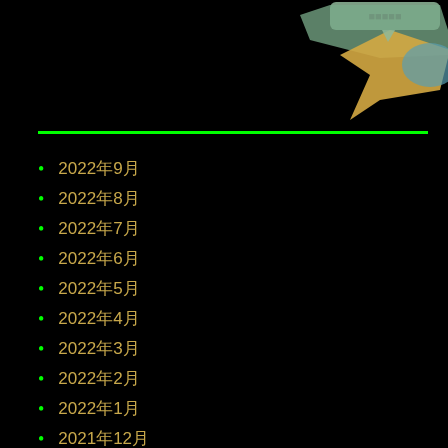[Figure (illustration): Decorative shapes including teal/green polygon, yellow diamond/arrow shape, and blue-teal blob on black background with tooltip bubble showing corrupted text]
2022年9月
2022年8月
2022年7月
2022年6月
2022年5月
2022年4月
2022年3月
2022年2月
2022年1月
2021年12月
2021年11月